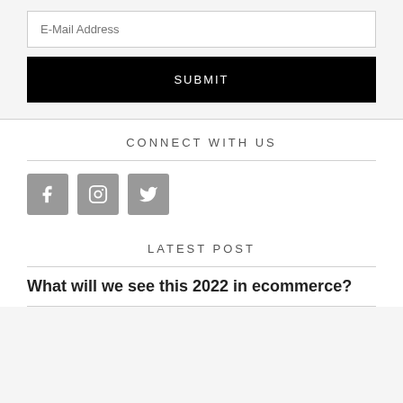[Figure (screenshot): E-Mail Address input field with white background and gray border]
[Figure (screenshot): SUBMIT button with black background and white text]
CONNECT WITH US
[Figure (infographic): Three social media icons: Facebook, Instagram, Twitter in gray square buttons]
LATEST POST
What will we see this 2022 in ecommerce?